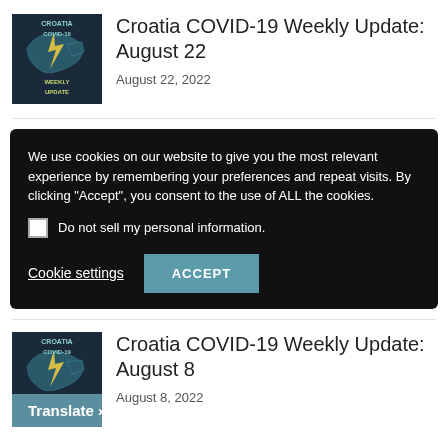[Figure (logo): Croatia COVID-19 Weekly Update logo with map silhouette]
Croatia COVID-19 Weekly Update: August 22
August 22, 2022
We use cookies on our website to give you the most relevant experience by remembering your preferences and repeat visits. By clicking “Accept”, you consent to the use of ALL the cookies.
Do not sell my personal information.
Cookie settings
ACCEPT
[Figure (logo): Croatia COVID-19 Weekly Update logo with map silhouette]
Croatia COVID-19 Weekly Update: August 8
August 8, 2022
Translate »